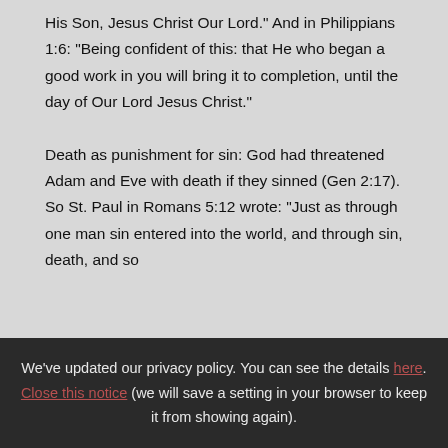His Son, Jesus Christ Our Lord." And in Philippians 1:6: "Being confident of this: that He who began a good work in you will bring it to completion, until the day of Our Lord Jesus Christ."

Death as punishment for sin: God had threatened Adam and Eve with death if they sinned (Gen 2:17). So St. Paul in Romans 5:12 wrote: "Just as through one man sin entered into the world, and through sin, death, and so
We've updated our privacy policy. You can see the details here.
Close this notice (we will save a setting in your browser to keep it from showing again).